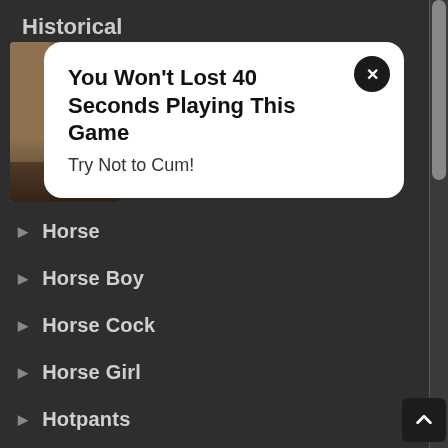Historical
[Figure (photo): Thumbnail of a person in historical setting, partially obscured by popup overlay]
You Won't Lost 40 Seconds Playing This Game
Try Not to Cum!
Horse
Horse Boy
Horse Cock
Horse Girl
Hotpants
Huge Breasts
Huge Penis
Human Cattle
Human On Furry
Human Pet